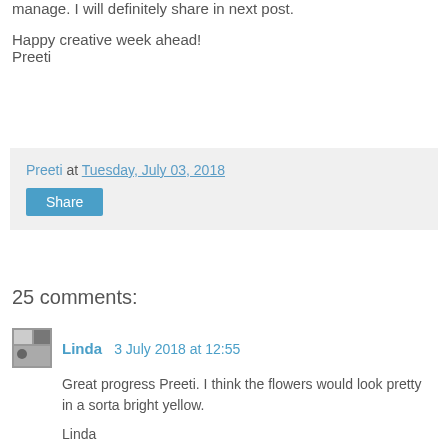manage. I will definitely share in next post.
Happy creative week ahead!
Preeti
Preeti at Tuesday, July 03, 2018
Share
25 comments:
Linda 3 July 2018 at 12:55
Great progress Preeti. I think the flowers would look pretty in a sorta bright yellow.

Linda
Reply